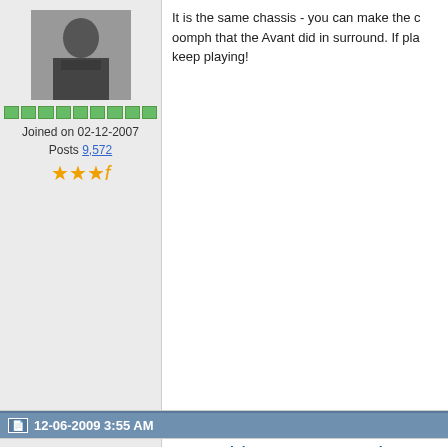It is the same chassis - you can make the oomph that the Avant did in surround. If pla keep playing!
Joined on 02-12-2007
Posts 9,572
12-06-2009 3:55 AM
moxxey
Re: BeoVision 10 - an owner's vie
Joined on 04-14-2007
South West, UK
Posts 2,360
Dave: Guys the BV7-32 was B&O's replacem neccesity for people to have bigger sc the screen as the focal point of the roo
Depends on the scenario. I have a TV roo room. In my bigger kitchen/living room, I ha